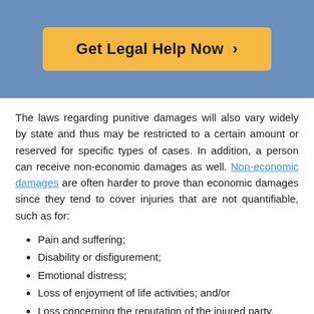[Figure (other): Blue header banner with an orange/yellow button labeled 'Get Legal Help Now >']
The laws regarding punitive damages will also vary widely by state and thus may be restricted to a certain amount or reserved for specific types of cases. In addition, a person can receive non-economic damages as well. Non-economic damages are often harder to prove than economic damages since they tend to cover injuries that are not quantifiable, such as for:
Pain and suffering;
Disability or disfigurement;
Emotional distress;
Loss of enjoyment of life activities; and/or
Loss concerning the reputation of the injured party.
Lastly, one other type of legal remedy that a plaintiff may be able to recover if they prevail in the lawsuit is